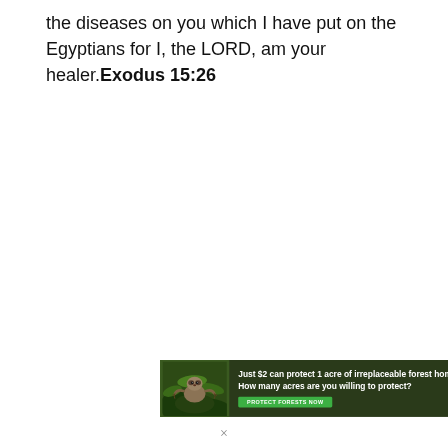the diseases on you which I have put on the Egyptians for I, the LORD, am your healer.Exodus 15:26
[Figure (infographic): Advertisement banner for Amazon forest protection. Dark green background with a sloth image on the left. Text reads: 'Just $2 can protect 1 acre of irreplaceable forest homes in the Amazon. How many acres are you willing to protect?' with a green button labeled 'PROTECT FORESTS NOW'.]
×